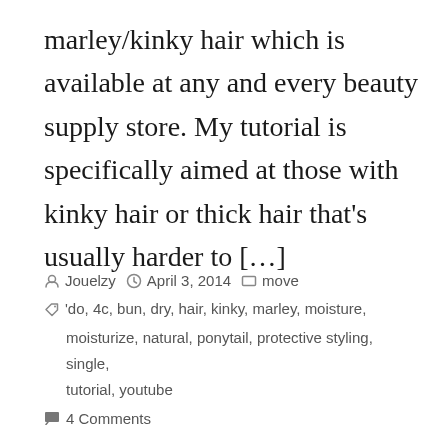marley/kinky hair which is available at any and every beauty supply store. My tutorial is specifically aimed at those with kinky hair or thick hair that's usually harder to […]
Jouelzy  April 3, 2014  move  'do, 4c, bun, dry, hair, kinky, marley, moisture, moisturize, natural, ponytail, protective styling, single, tutorial, youtube  4 Comments